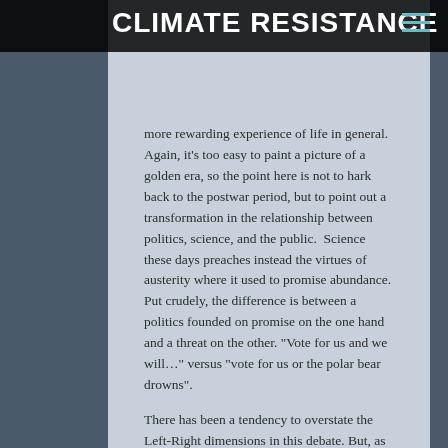CLIMATE RESISTANCE
more rewarding experience of life in general. Again, it’s too easy to paint a picture of a golden era, so the point here is not to hark back to the postwar period, but to point out a transformation in the relationship between politics, science, and the public.  Science these days preaches instead the virtues of austerity where it used to promise abundance. Put crudely, the difference is between a politics founded on promise on the one hand and a threat on the other. “Vote for us and we will…” versus “vote for us or the polar bear drowns”.
There has been a tendency to overstate the Left-Right dimensions in this debate. But, as much as Mooney protests otherwise, there are no straight lines that correspond either to neurology or political theory. This week, for instance Jeremy Grantham — the backer of the Grantham Institute of the LSE, home of Bob May and Nicholas Stern — proclaimed that it is “Time to Wake Up: Days of Abundant Resources and Falling Prices Are Over Forever”